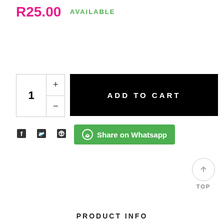R25.00
AVAILABLE
1
ADD TO CART
[Figure (infographic): Social media icons: Facebook, Twitter, Pinterest]
Share on Whatsapp
TOP
PRODUCT INFO